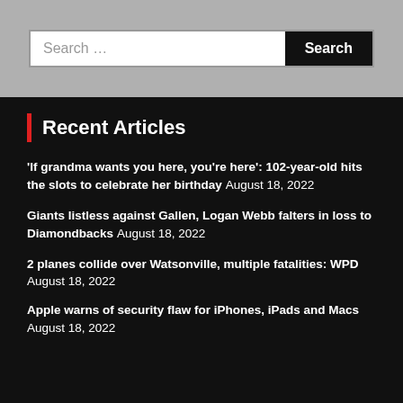'If grandma wants you here, you’re here': 102-year-old hits the slots to celebrate her birthday August 18, 2022
Giants listless against Gallen, Logan Webb falters in loss to Diamondbacks August 18, 2022
2 planes collide over Watsonville, multiple fatalities: WPD August 18, 2022
Apple warns of security flaw for iPhones, iPads and Macs August 18, 2022